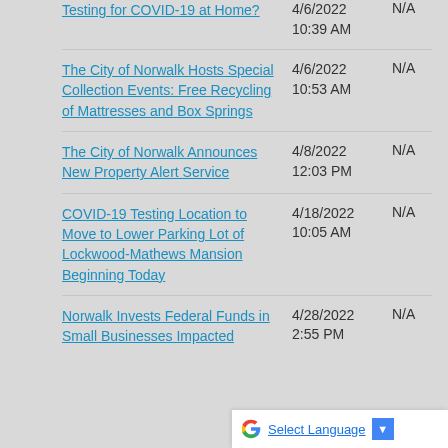Testing for COVID-19 at Home?
The City of Norwalk Hosts Special Collection Events: Free Recycling of Mattresses and Box Springs
The City of Norwalk Announces New Property Alert Service
COVID-19 Testing Location to Move to Lower Parking Lot of Lockwood-Mathews Mansion Beginning Today
Norwalk Invests Federal Funds in Small Businesses Impacted